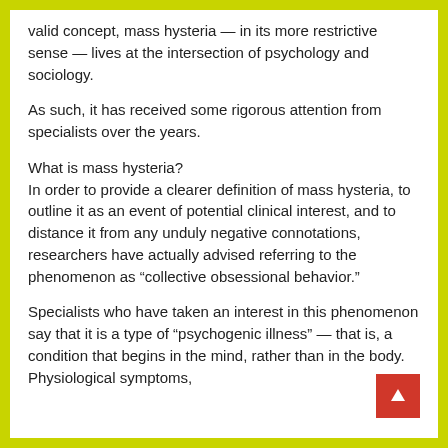valid concept, mass hysteria — in its more restrictive sense — lives at the intersection of psychology and sociology.
As such, it has received some rigorous attention from specialists over the years.
What is mass hysteria?
In order to provide a clearer definition of mass hysteria, to outline it as an event of potential clinical interest, and to distance it from any unduly negative connotations, researchers have actually advised referring to the phenomenon as “collective obsessional behavior.”
Specialists who have taken an interest in this phenomenon say that it is a type of “psychogenic illness” — that is, a condition that begins in the mind, rather than in the body. Physiological symptoms,